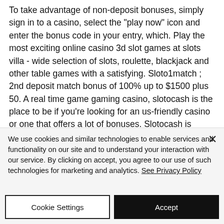To take advantage of non-deposit bonuses, simply sign in to a casino, select the "play now" icon and enter the bonus code in your entry, which. Play the most exciting online casino 3d slot games at slots villa - wide selection of slots, roulette, blackjack and other table games with a satisfying. Sloto1match ; 2nd deposit match bonus of 100% up to $1500 plus 50. A real time game gaming casino, slotocash is the place to be if you're looking for an us-friendly casino or one that offers a lot of bonuses. Slotocash is
We use cookies and similar technologies to enable services and functionality on our site and to understand your interaction with our service. By clicking on accept, you agree to our use of such technologies for marketing and analytics. See Privacy Policy
Cookie Settings
Accept